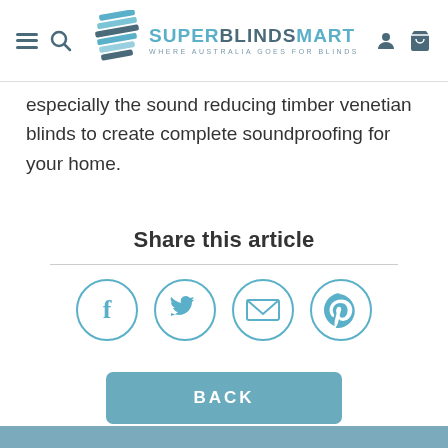SuperBlindsMart — Where Australia Goes for Blinds
especially the sound reducing timber venetian blinds to create complete soundproofing for your home.
Share this article
[Figure (infographic): Four circular social share icons: Facebook (f), Twitter (bird), Email (envelope), Pinterest (p)]
BACK